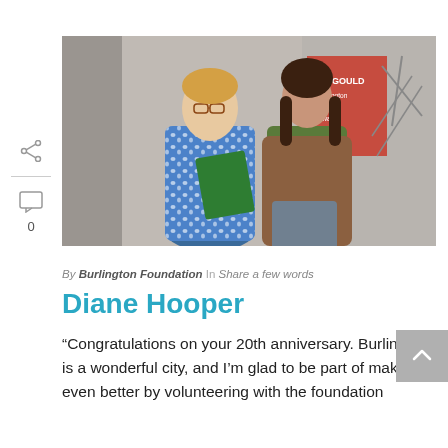[Figure (photo): Two women standing together indoors at an event. One wears a blue and white patterned top holding a green folder; the other wears a brown jacket and green shirt. Background shows a 'Gould' banner and event signage.]
By Burlington Foundation In Share a few words
Diane Hooper
“Congratulations on your 20th anniversary. Burlington is a wonderful city, and I’m glad to be part of making it even better by volunteering with the foundation